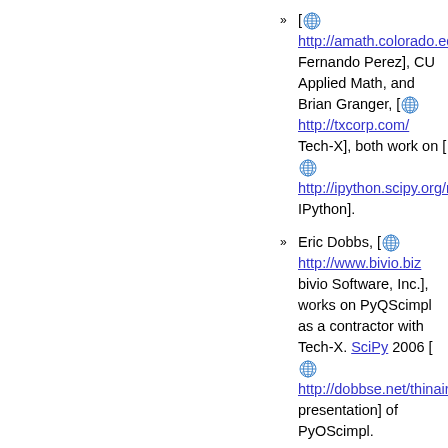[ http://amath.colorado.edu Fernando Perez], CU Applied Math, and Brian Granger, [ http://txcorp.com/ Tech-X], both work on [ http://ipython.scipy.org/mo IPython].
Eric Dobbs, [ http://www.bivio.biz bivio Software, Inc.], works on PyQScimpl as a contractor with Tech-X. SciPy 2006 [ http://dobbse.net/thinair/2 presentation] of PyOScimpl.